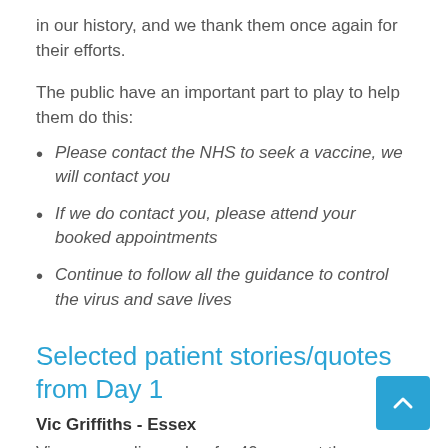in our history, and we thank them once again for their efforts.
The public have an important part to play to help them do this:
Please contact the NHS to seek a vaccine, we will contact you
If we do contact you, please attend your booked appointments
Continue to follow all the guidance to control the virus and save lives
Selected patient stories/quotes from Day 1
Vic Griffiths - Essex
Vic was a radiographer for 40 years at the Basildon and Thurrock University Hospitals NHS Foundation Trust,